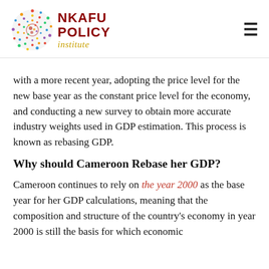[Figure (logo): Nkafu Policy Institute logo with colorful circular dot pattern and text]
with a more recent year, adopting the price level for the new base year as the constant price level for the economy, and conducting a new survey to obtain more accurate industry weights used in GDP estimation. This process is known as rebasing GDP.
Why should Cameroon Rebase her GDP?
Cameroon continues to rely on the year 2000 as the base year for her GDP calculations, meaning that the composition and structure of the country's economy in year 2000 is still the basis for which economic